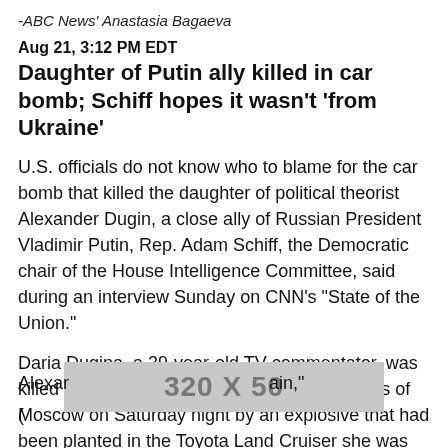-ABC News' Anastasia Bagaeva
Aug 21, 3:12 PM EDT
Daughter of Putin ally killed in car bomb; Schiff hopes it wasn't 'from Ukraine'
U.S. officials do not know who to blame for the car bomb that killed the daughter of political theorist Alexander Dugin, a close ally of Russian President Vladimir Putin, Rep. Adam Schiff, the Democratic chair of the House Intelligence Committee, said during an interview Sunday on CNN's "State of the Union."
Daria Dugina, a 29-year-old TV commentator, was killed on the Mozhaisk Highway in the outskirts of Moscow on Saturday night by an explosive that had been planted in the Toyota Land Cruiser she was driving, Russia's state-run news agency TASS reported.
[Figure (other): Advertisement banner 320 X 50]
Alexar ... ain," (partial text cut off by ad)